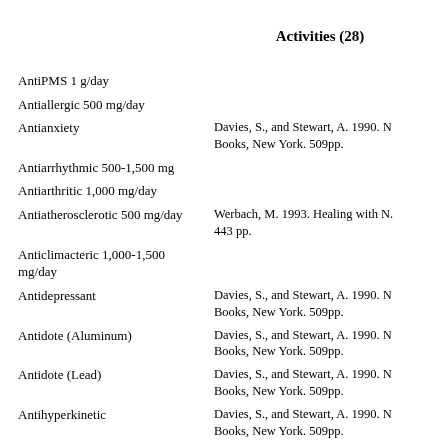Activities (28)
AntiPMS 1 g/day
Antiallergic 500 mg/day
Antianxiety
Davies, S., and Stewart, A. 1990. Books, New York. 509pp.
Antiarrhythmic 500-1,500 mg
Antiarthritic 1,000 mg/day
Antiatherosclerotic 500 mg/day
Werbach, M. 1993. Healing with N. 443 pp.
Anticlimacteric 1,000-1,500 mg/day
Antidepressant
Davies, S., and Stewart, A. 1990. Books, New York. 509pp.
Antidote (Aluminum)
Davies, S., and Stewart, A. 1990. Books, New York. 509pp.
Antidote (Lead)
Davies, S., and Stewart, A. 1990. Books, New York. 509pp.
Antihyperkinetic
Davies, S., and Stewart, A. 1990. Books, New York. 509pp.
Antihypertensive